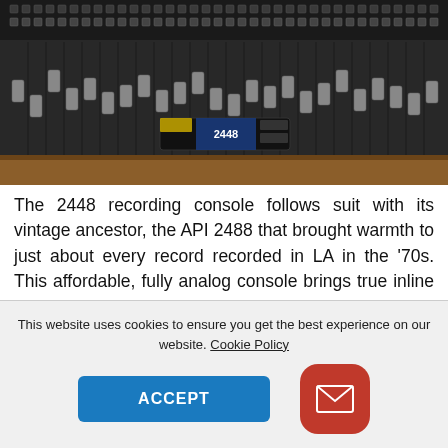[Figure (photo): Close-up photo of a recording console mixing board with faders and controls, showing the API 2448 console top panel.]
The 2448 recording console follows suit with its vintage ancestor, the API 2488 that brought warmth to just about every record recorded in LA in the '70s. This affordable, fully analog console brings true inline workflow in a 24-channel format with plenty of room to grow. The automation system is taken from the same system used on the classic API Vision for the smoothest automation performance possible. The added 529C Stereo Bus Compressor is great for mix
This website uses cookies to ensure you get the best experience on our website. Cookie Policy
ACCEPT